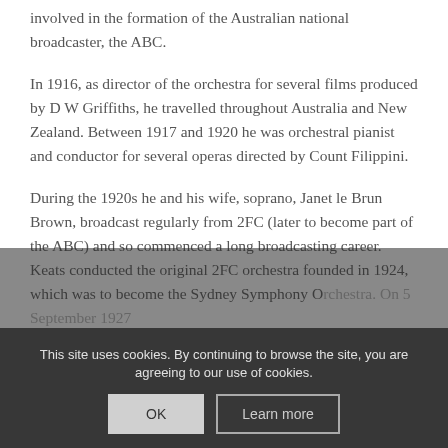involved in the formation of the Australian national broadcaster, the ABC.
In 1916, as director of the orchestra for several films produced by D W Griffiths, he travelled throughout Australia and New Zealand. Between 1917 and 1920 he was orchestral pianist and conductor for several operas directed by Count Filippini.
During the 1920s he and his wife, soprano, Janet le Brun Brown, broadcast regularly from 2FC (later to become part of the ABC) and so commenced a long broadcasting career. Keats conducted the original 2FC orchestra founded in 1924, which was to become the Sydney Symphony Orchestra. On 5 September 1927
This site uses cookies. By continuing to browse the site, you are agreeing to our use of cookies.